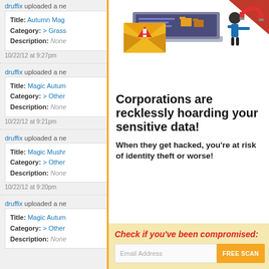druffix uploaded a ne
Title: Autumn Mag
Category: > Grass
Description: None
10/22/12 at 9:27pm
druffix uploaded a ne
Title: Magic Autum
Category: > Other
Description: None
10/22/12 at 9:21pm
druffix uploaded a ne
Title: Magic Mushr
Category: > Other
Description: None
10/22/12 at 9:20pm
druffix uploaded a ne
Title: Magic Autum
Category: > Other
Description: None
[Figure (illustration): Popup overlay with warning illustration showing envelope with exclamation mark, laptop with person pulling data]
Corporations are recklessly hoarding your sensitive data!
When they get hacked, you’re at risk of identity theft or worse!
Check if you've been compromised:
Email Address  FREE SCAN